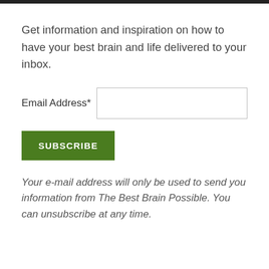Get information and inspiration on how to have your best brain and life delivered to your inbox.
Email Address*
SUBSCRIBE
Your e-mail address will only be used to send you information from The Best Brain Possible. You can unsubscribe at any time.